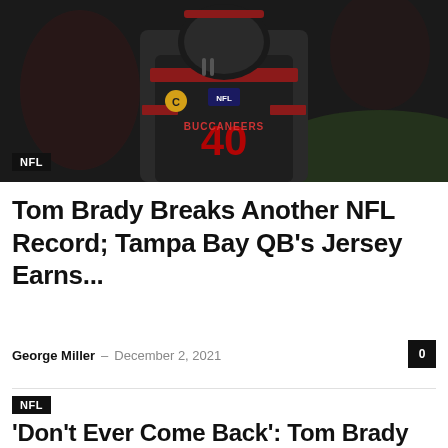[Figure (photo): NFL player wearing a dark jersey with number 42, captain patch (C), in a football stadium setting. The image is cropped showing the player from chest up.]
NFL
Tom Brady Breaks Another NFL Record; Tampa Bay QB's Jersey Earns...
George Miller – December 2, 2021
[Figure (photo): Second article image placeholder (blank/dark area)]
NFL
'Don't Ever Come Back': Tom Brady Flexes